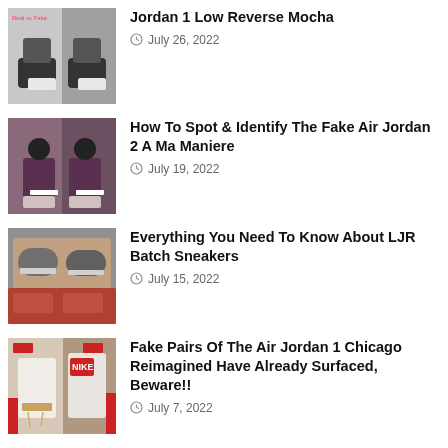[Figure (photo): Back view of Jordan 1 Low Reverse Mocha sneakers, black and white colorway]
Jordan 1 Low Reverse Mocha
July 26, 2022
[Figure (photo): Back view of Air Jordan 2 A Ma Maniere in dark maroon/purple colorway]
How To Spot & Identify The Fake Air Jordan 2 A Ma Maniere
July 19, 2022
[Figure (photo): LJR Batch sneakers displayed in a store setting, grey sneakers with laces]
Everything You Need To Know About LJR Batch Sneakers
July 15, 2022
[Figure (photo): Air Jordan 1 Chicago Reimagined fake pairs displayed with tags]
Fake Pairs Of The Air Jordan 1 Chicago Reimagined Have Already Surfaced, Beware!!
July 7, 2022